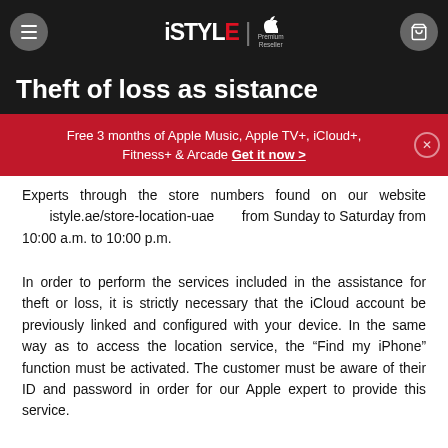iSTYLE | Apple Premium Reseller — Theft of loss assistance
Free 3 months of Apple Music, Apple TV+, iCloud+, Fitness+ & Arcade Get it now >
Experts through the store numbers found on our website istyle.ae/store-location-uae from Sunday to Saturday from 10:00 a.m. to 10:00 p.m.
In order to perform the services included in the assistance for theft or loss, it is strictly necessary that the iCloud account be previously linked and configured with your device. In the same way as to access the location service, the “Find my iPhone” function must be activated. The customer must be aware of their ID and password in order for our Apple expert to provide this service.